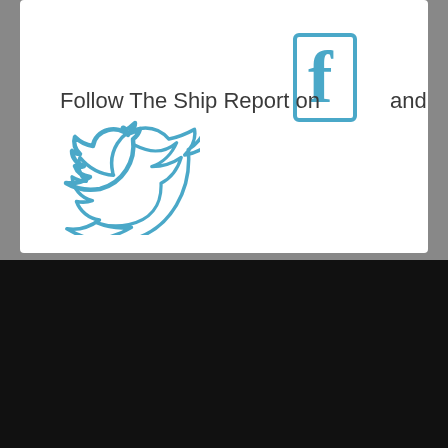Follow The Ship Report on [Facebook icon] and [Twitter icon]
[Figure (screenshot): Mobile app screenshot showing a map with a dark blue sidebar containing search, filter, and layers icons on the left, and a map view showing Ocean Park area with Highway 101 marker on the right]